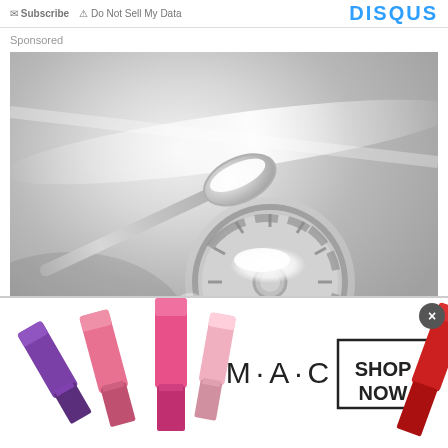Subscribe  Do Not Sell My Data  DISQUS
Sponsored
[Figure (photo): A stainless steel kitchen sink drain with a spoon pouring white powder (baking soda) onto the drain strainer.]
[Figure (photo): MAC cosmetics advertisement banner showing colorful lipsticks on the left and right, M·A·C logo in center, and a 'SHOP NOW' button in a black-bordered box. A close button (x) appears in the upper right.]